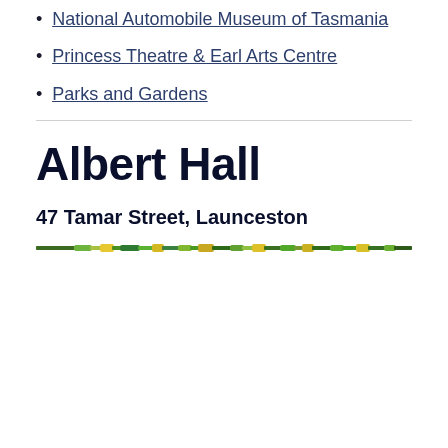National Automobile Museum of Tasmania
Princess Theatre & Earl Arts Centre
Parks and Gardens
Albert Hall
47 Tamar Street, Launceston
[Figure (illustration): Decorative horizontal divider with colorful floral or foliage pattern in greens and yellows]